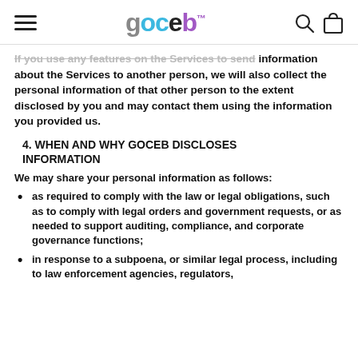goceb (logo with hamburger menu, search, and cart icons)
If you use any features on the Services to send information about the Services to another person, we will also collect the personal information of that other person to the extent disclosed by you and may contact them using the information you provided us.
4. WHEN AND WHY GOCEB DISCLOSES INFORMATION
We may share your personal information as follows:
as required to comply with the law or legal obligations, such as to comply with legal orders and government requests, or as needed to support auditing, compliance, and corporate governance functions;
in response to a subpoena, or similar legal process, including to law enforcement agencies, regulators,